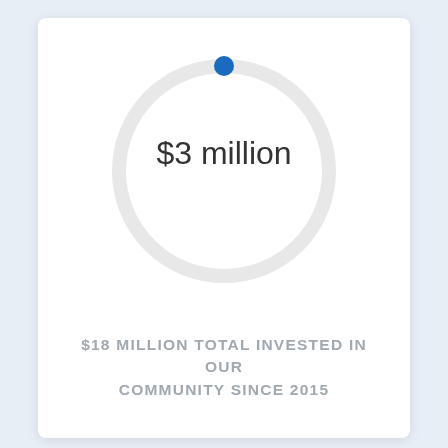[Figure (donut-chart): A donut/ring chart with a light gray ring and a small blue dot at the top indicating a data point. The center displays '$3 million'.]
$18 MILLION TOTAL INVESTED IN OUR COMMUNITY SINCE 2015